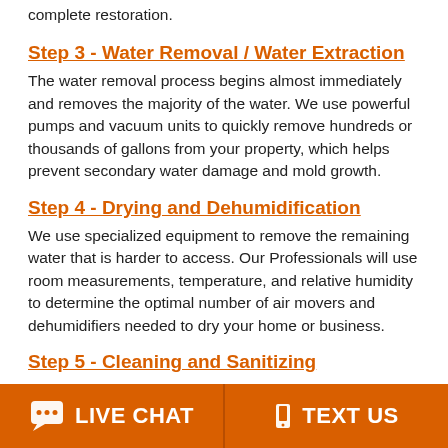complete restoration.
Step 3 - Water Removal / Water Extraction
The water removal process begins almost immediately and removes the majority of the water. We use powerful pumps and vacuum units to quickly remove hundreds or thousands of gallons from your property, which helps prevent secondary water damage and mold growth.
Step 4 - Drying and Dehumidification
We use specialized equipment to remove the remaining water that is harder to access. Our Professionals will use room measurements, temperature, and relative humidity to determine the optimal number of air movers and dehumidifiers needed to dry your home or business.
Step 5 - Cleaning and Sanitizing
We clean all of the restorable items and structures damaged
LIVE CHAT   TEXT US